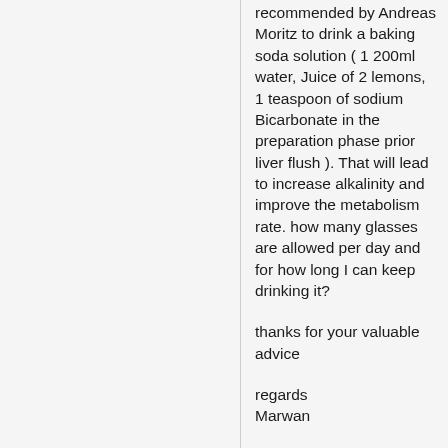recommended by Andreas Moritz to drink a baking soda solution ( 1 200ml water, Juice of 2 lemons, 1 teaspoon of sodium Bicarbonate in the preparation phase prior liver flush ). That will lead to increase alkalinity and improve the metabolism rate. how many glasses are allowed per day and for how long I can keep drinking it?
thanks for your valuable advice
regards
Marwan